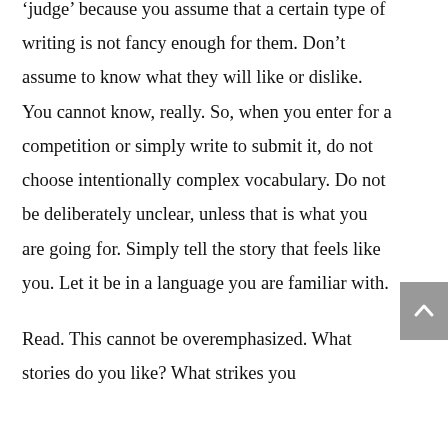'judge' because you assume that a certain type of writing is not fancy enough for them. Don't assume to know what they will like or dislike. You cannot know, really. So, when you enter for a competition or simply write to submit it, do not choose intentionally complex vocabulary. Do not be deliberately unclear, unless that is what you are going for. Simply tell the story that feels like you. Let it be in a language you are familiar with.

Read. This cannot be overemphasized. What stories do you like? What strikes you